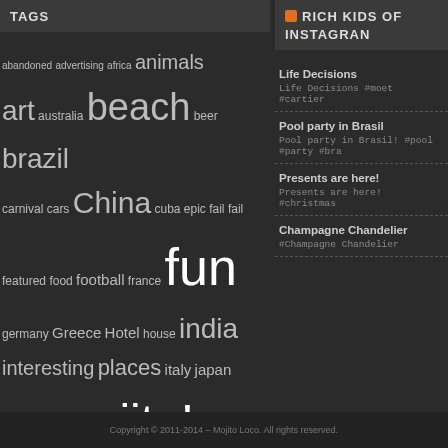TAGS
abandoned advertising africa animals art australia beach beer brazil carnival cars China cuba epic fail fail featured food football france fun germany Greece Hotel house india interesting places italy japan maldives mojito! nature photography photos pool rio de janeiro sea soccer sport Summer Thailand tourism tourist attraction Travel usa Vacation
RICH KIDS OF INSTAGRAM
Life Decisions
Life Decisions #moet #cartier
Pool party in Brasil
Pool party in Brasil! #pool #party #bra
Presents are here!
Presents are here! #christmas
Champagne Chandelier
#Champagne Chandelier
Copyright © 2011-2014 – Mojito Loco. All rights reserved.